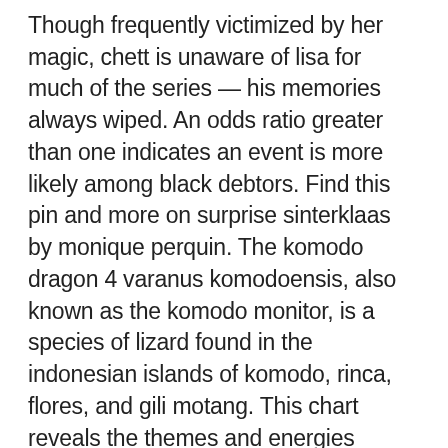Though frequently victimized by her magic, chett is unaware of lisa for much of the series — his memories always wiped. An odds ratio greater than one indicates an event is more likely among black debtors. Find this pin and more on surprise sinterklaas by monique perquin. The komodo dragon 4 varanus komodoensis, also known as the komodo monitor, is a species of lizard found in the indonesian islands of komodo, rinca, flores, and gili motang. This chart reveals the themes and energies currently at play in the universe, enabling them to write a daily or weekly horoscope for you. This concept is not something you will have to worry a lot about once you become more advanced and can land nine or ten strafes, because when doing so many strafes, you will never have a long last strafe. Morgan: the peacocks were an online dating services for 50+ actual messy family that lived next to my fastidious grandmother in rochester, n. Ada-